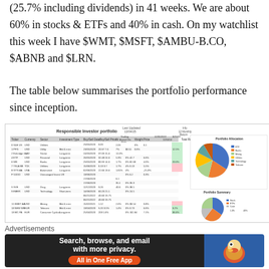(25.7% including dividends) in 41 weeks. We are about 60% in stocks & ETFs and 40% in cash. On my watchlist this week I have $WMT, $MSFT, $AMBU-B.CO, $ABNB and $LRN.
The table below summarises the portfolio performance since inception.
[Figure (table-as-image): Responsible Investor portfolio performance table with columns for Ticker, Currency, Sector, Investment Type, Buy/Sell Date, Buy/Sell Price, Nr, Trailing Annual Div Rate, 12/31/2022, 12/04/24, 3/25/24, Total Return, Weight, Price. Rows show various holdings including ETFs, stocks in sectors like Banks, Technology, Telecom, Consumer Cyclical, Insurance, Mining, Automotive. Color-coded cells showing gains (green) and losses (red). Pie charts on right side showing portfolio allocation and portfolio summary.]
Advertisements
[Figure (screenshot): DuckDuckGo advertisement banner: 'Search, browse, and email with more privacy. All in One Free App' with DuckDuckGo duck logo on dark background.]